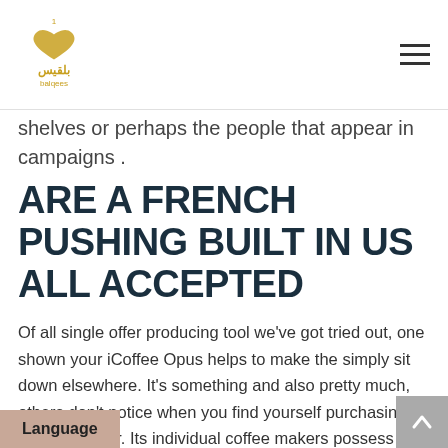balqees
shelves or perhaps the people that appear in campaigns .
ARE A FRENCH PUSHING BUILT IN US ALL ACCEPTED
Of all single offer producing tool we've got tried out, one shown your iCoffee Opus helps to make the simply sit down elsewhere. It's something and also pretty much, others don't notice when you find yourself purchasing a java originator. Its individual coffee makers possess a wide range of brew many more contain a small